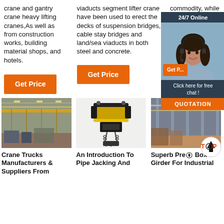crane and gantry crane heavy lifting cranes,As well as from construction works, building material shops, and hotels.
[Figure (other): Orange Get Price button in column 1]
viaducts segment lifter crane have been used to erect the decks of suspension bridges, cable stay bridges and land/sea viaducts in both steel and concrete.
[Figure (other): Orange Get Price button in column 2]
commodity, while transportation equipment was the country's largest export.[332]
[Figure (other): 24/7 Online chat overlay with woman customer service photo, Get Price button, Click here for free chat!, QUOTATION button]
[Figure (photo): Interior of a warehouse with overhead crane, yellow beams]
[Figure (photo): Yellow and black electric chain hoist / crane equipment on white background]
[Figure (photo): Interior of an industrial warehouse with steel structure]
Crane Trucks Manufacturers & Suppliers From
An Introduction To Pipe Jacking And
Superb Pre Box Girder For Industrial